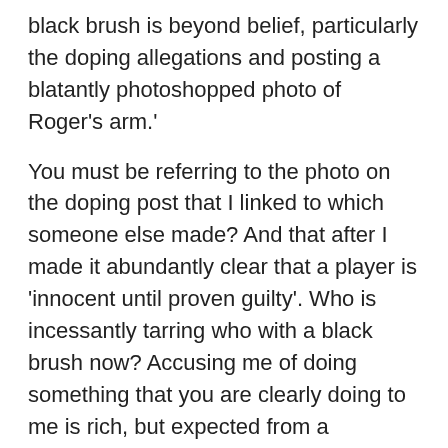black brush is beyond belief, particularly the doping allegations and posting a blatantly photoshopped photo of Roger’s arm.’
You must be referring to the photo on the doping post that I linked to which someone else made? And that after I made it abundantly clear that a player is ‘innocent until proven guilty’. Who is incessantly tarring who with a black brush now? Accusing me of doing something that you are clearly doing to me is rich, but expected from a possessed Fedfan.
‘Speaking of supposedly “unbalanced” slam resumes, why not look into Nadal’s “balance,” which is 2:9:2:1?’